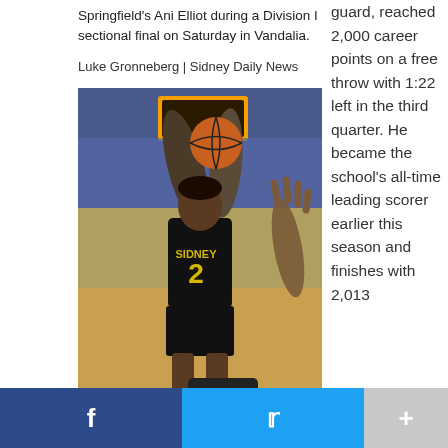Springfield's Ani Elliot during a Division I sectional final on Saturday in Vandalia.
Luke Gronneberg | Sidney Daily News
[Figure (photo): Basketball player wearing Sidney #2 jersey jumping to shoot the ball over a defender, in a gymnasium setting]
guard, reached 2,000 career points on a free throw with 1:22 left in the third quarter. He became the school's all-time leading scorer earlier this season and finishes with 2,013